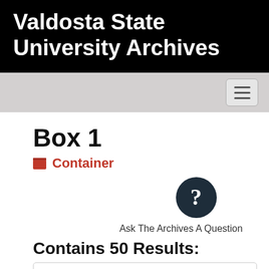Valdosta State University Archives
[Figure (screenshot): Navigation bar with hamburger menu button on gray background]
Box 1
Container
[Figure (other): Dark circle with question mark icon — Ask The Archives A Question]
Ask The Archives A Question
Contains 50 Results:
The Southern Patriot
Collection · Multiple Containers